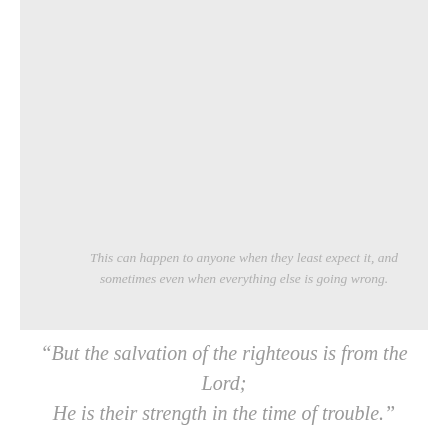[Figure (other): Large light gray rectangular image placeholder occupying the upper portion of the page, with italic gray caption text overlaid at the bottom reading: This can happen to anyone when they least expect it, and sometimes even when everything else is going wrong.]
“But the salvation of the righteous is from the Lord; He is their strength in the time of trouble.”